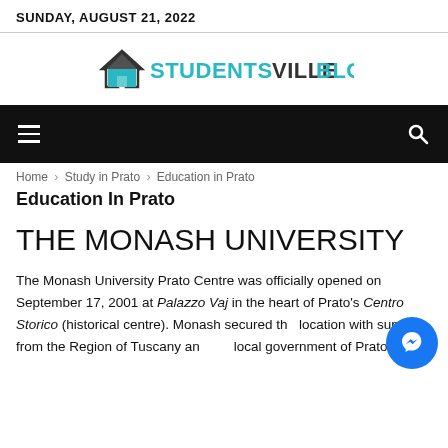SUNDAY, AUGUST 21, 2022
[Figure (logo): Studentsville Blog logo with teal house icon and text 'STUDENTSVILLE BLOG']
≡   🔍
Home › Study in Prato › Education in Prato
Education In Prato
THE MONASH UNIVERSITY
The Monash University Prato Centre was officially opened on September 17, 2001 at Palazzo Vaj in the heart of Prato's Centro Storico (historical centre). Monash secured the location with support from the Region of Tuscany and local government of Prato.